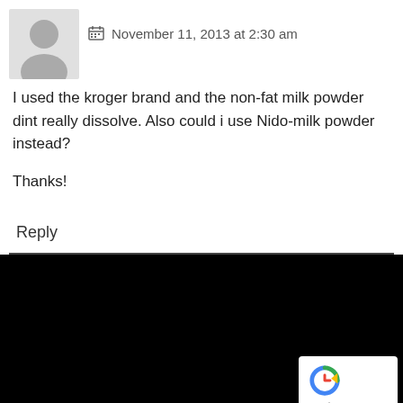November 11, 2013 at 2:30 am
I used the kroger brand and the non-fat milk powder dint really dissolve. Also could i use Nido-milk powder instead?

Thanks!
Reply